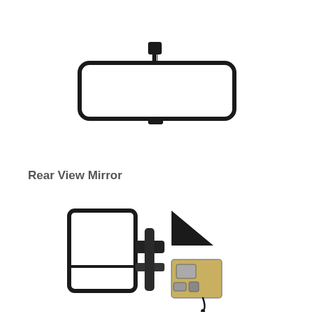[Figure (photo): Top-down view of a rectangular interior rear view mirror with rounded corners and a mounting bracket on top, shown against a white background]
Rear View Mirror
[Figure (photo): Side view of an exterior towing mirror (side mirror) with extendable arm, dual glass panels, a triangular mounting bracket, and mechanical hardware/wiring visible, shown against a white background]